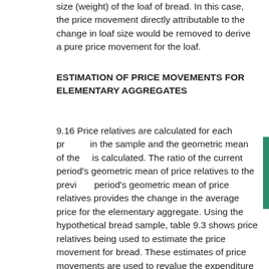size (weight) of the loaf of bread. In this case, the price movement directly attributable to the change in loaf size would be removed to derive a pure price movement for the loaf.
ESTIMATION OF PRICE MOVEMENTS FOR ELEMENTARY AGGREGATES
9.16 Price relatives are calculated for each product in the sample and the geometric mean of these is calculated. The ratio of the current period's geometric mean of price relatives to the previous period's geometric mean of price relatives provides the change in the average price for the elementary aggregate. Using the hypothetical bread sample, table 9.3 shows price relatives being used to estimate the price movement for bread. These estimates of price movements are used to revalue the expenditure aggregates to current period prices, by applying the period to period price movement to the previous period' ;s